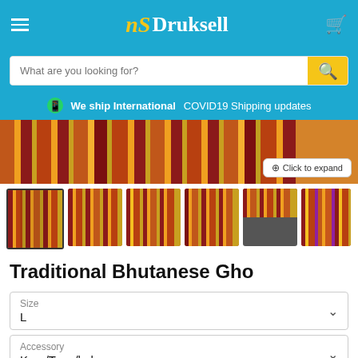Druksell
What are you looking for?
We ship International   COVID19 Shipping updates
[Figure (photo): Product image of Traditional Bhutanese Gho - colorful striped fabric robe with multiple thumbnail views]
Traditional Bhutanese Gho
Size
L
Accessory
Kera/Tego/kabney